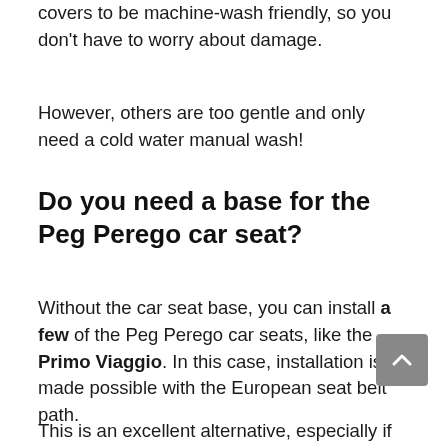covers to be machine-wash friendly, so you don't have to worry about damage.
However, others are too gentle and only need a cold water manual wash!
Do you need a base for the Peg Perego car seat?
Without the car seat base, you can install a few of the Peg Perego car seats, like the Primo Viaggio. In this case, installation is made possible with the European seat belt path.
This is an excellent alternative, especially if